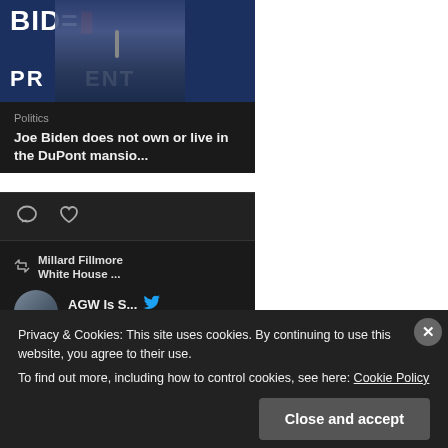[Figure (photo): Joe Biden speaking at a campaign event in front of a blue BIDEN FOR PRESIDENT campaign sign, holding a microphone]
Politics
Joe Biden does not own or live in the DuPont mansio...
Millard Fillmore White House ...
AGW Is S... @AG... · 2h
Privacy & Cookies: This site uses cookies. By continuing to use this website, you agree to their use.
To find out more, including how to control cookies, see here: Cookie Policy